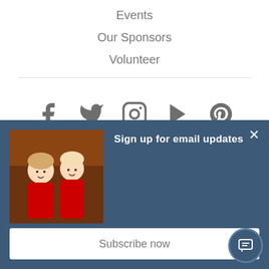Events
Our Sponsors
Volunteer
[Figure (infographic): Social media icons row: Facebook, Twitter, Instagram, YouTube, Pinterest]
[Figure (screenshot): Email signup popup with photo of two children, title 'Sign up for email updates', Subscribe now button, and chat icon]
Sign up for email updates
Subscribe now